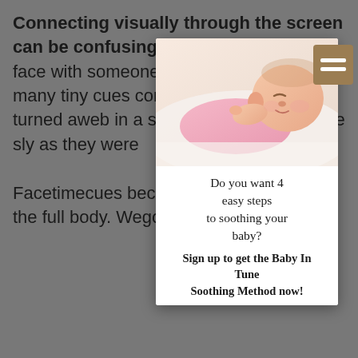Connecting visually through the screen can be confusing. When we are face to face with someone we learn to pick up on many tiny cues constantly ... the mouth, a ... sl turned aw ... eb in a slight ... ely subtle and we re ... sly as they were ...
Facetime ... cues because t ... here's often a d ... the full body. We ... go on and that ...
[Figure (photo): A sleeping baby in a pink onesie lying on a white surface, with a popup overlay containing text about soothing steps and a signup call to action.]